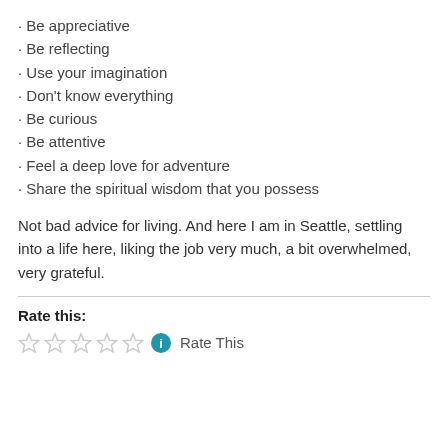· Be appreciative
· Be reflecting
· Use your imagination
· Don't know everything
· Be curious
· Be attentive
· Feel a deep love for adventure
· Share the spiritual wisdom that you possess
Not bad advice for living. And here I am in Seattle, settling into a life here, liking the job very much, a bit overwhelmed, very grateful.
Rate this:
[Figure (other): Five empty star rating icons followed by a blue info icon and the text 'Rate This']